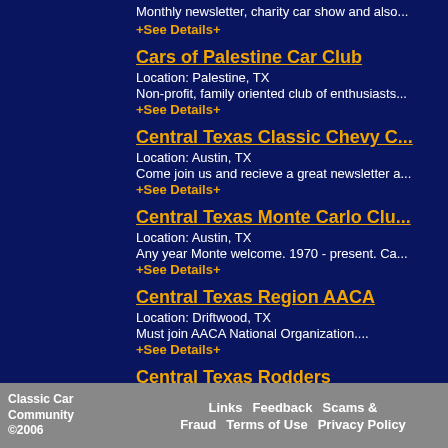Monthly newsletter, charity car show and also...
+See Details+
Cars of Palestine Car Club
Location: Palestine, TX
Non-profit, family oriented club of enthusiasts...
+See Details+
Central Texas Classic Chevy C...
Location: Austin, TX
Come join us and recieve a great newsletter a...
+See Details+
Central Texas Monte Carlo Clu...
Location: Austin, TX
Any year Monte welcome. 1970 - present. Ca...
+See Details+
Central Texas Region AACA
Location: Driftwood, TX
Must join AACA National Organization....
+See Details+
Central Texas Rodders
Location: Killeen, TX
Classic Car Community ©2006   Links   Feedback   Scams & Fraud   Terms of Use   Privacy Policy